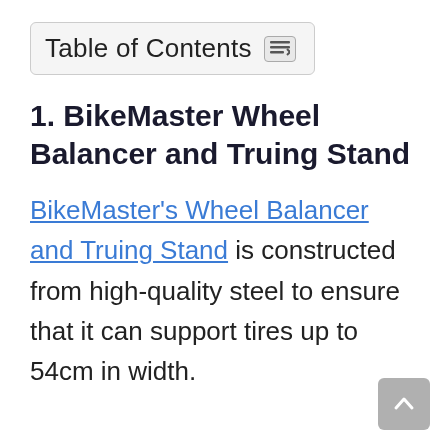Table of Contents
1. BikeMaster Wheel Balancer and Truing Stand
BikeMaster's Wheel Balancer and Truing Stand is constructed from high-quality steel to ensure that it can support tires up to 54cm in width.